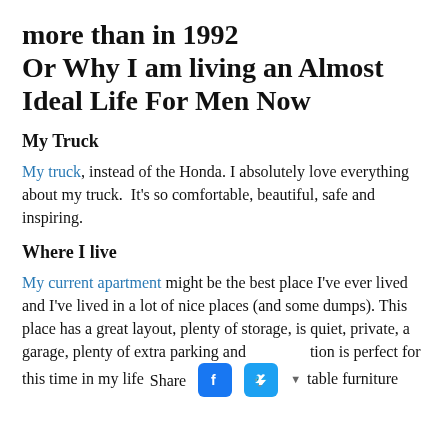more than in 1992
Or Why I am living an Almost Ideal Life For Men Now
My Truck
My truck, instead of the Honda. I absolutely love everything about my truck.  It's so comfortable, beautiful, safe and inspiring.
Where I live
My current apartment might be the best place I've ever lived and I've lived in a lot of nice places (and some dumps). This place has a great layout, plenty of storage, is quiet, private, a garage, plenty of extra parking and [Share bar overlay] tion is perfect for this time in my life [Share bar] table furniture